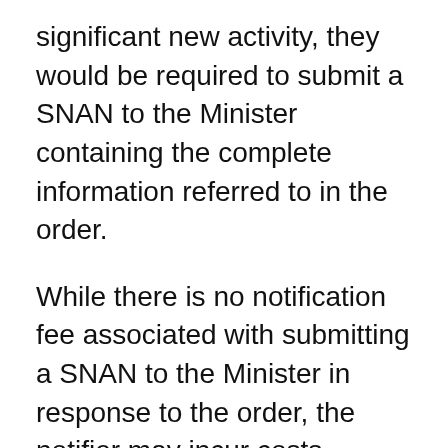significant new activity, they would be required to submit a SNAN to the Minister containing the complete information referred to in the order.
While there is no notification fee associated with submitting a SNAN to the Minister in response to the order, the notifier may incur costs associated with generating data and supplying the required information. Similarly, in the event that a SNAN is received, the Department of the Environment and the Department of Health would incur costs for processing the information and conducting further